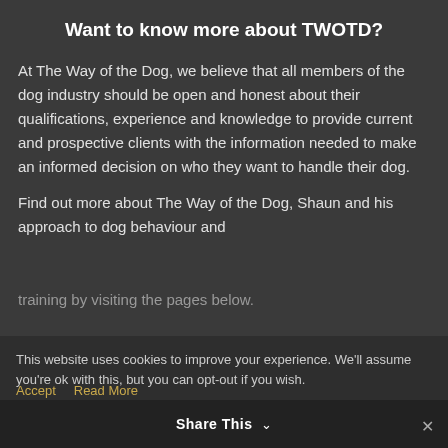Want to know more about TWOTD?
At The Way of the Dog, we believe that all members of the dog industry should be open and honest about their qualifications, experience and knowledge to provide current and prospective clients with the information needed to make an informed decision on who they want to handle their dog.
Find out more about The Way of the Dog, Shaun and his approach to dog behaviour and training by visiting the pages below.
This website uses cookies to improve your experience. We'll assume you're ok with this, but you can opt-out if you wish.
Accept   Read More
Share This